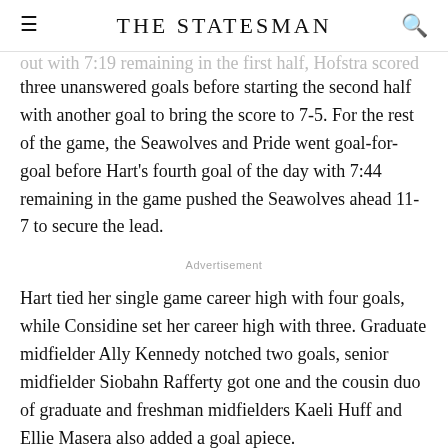The Statesman
out with 7:19 remaining in the first half, Hofstra scored three unanswered goals before starting the second half with another goal to bring the score to 7-5. For the rest of the game, the Seawolves and Pride went goal-for-goal before Hart's fourth goal of the day with 7:44 remaining in the game pushed the Seawolves ahead 11-7 to secure the lead.
Advertisement
Hart tied her single game career high with four goals, while Considine set her career high with three. Graduate midfielder Ally Kennedy notched two goals, senior midfielder Siobahn Rafferty got one and the cousin duo of graduate and freshman midfielders Kaeli Huff and Ellie Masera also added a goal apiece.